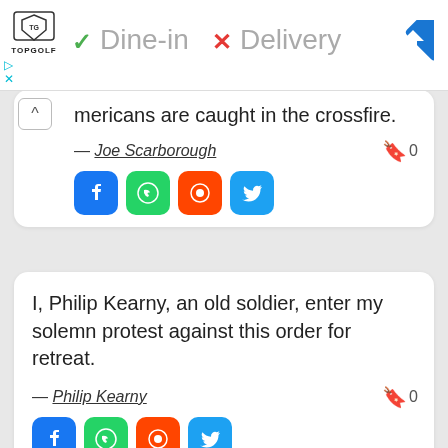[Figure (screenshot): Advertisement banner for Topgolf showing Dine-in (checkmark) and Delivery (X) options with a navigation direction icon]
mericans are caught in the crossfire.
— Joe Scarborough
0
[Figure (screenshot): Social share buttons: Facebook, WhatsApp, Reddit, Twitter]
I, Philip Kearny, an old soldier, enter my solemn protest against this order for retreat.
— Philip Kearny
0
[Figure (screenshot): Social share buttons: Facebook, WhatsApp, Reddit, Twitter]